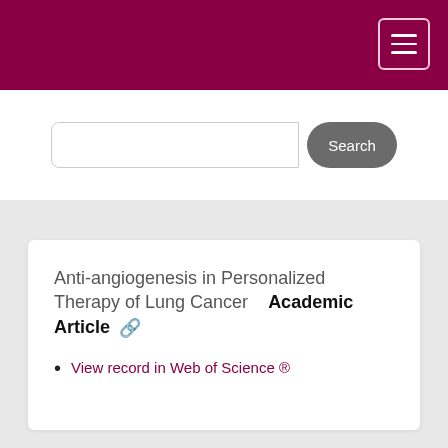[Figure (screenshot): Search bar with text input field and Search button]
Anti-angiogenesis in Personalized Therapy of Lung Cancer  Academic Article
View record in Web of Science ®